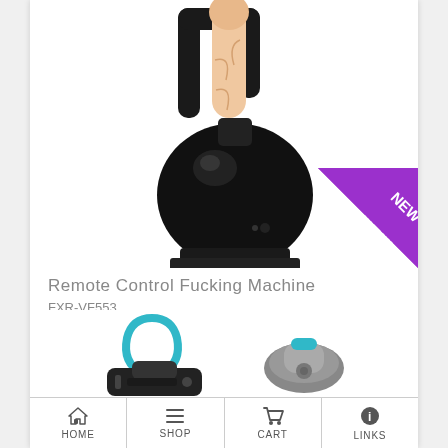[Figure (photo): Product photo of a remote control fucking machine with black spherical motorized body, black handle bracket, and a flesh-colored dildo attachment. A purple 'NEW' corner badge is in the bottom right of the image.]
Remote Control Fucking Machine
FXR-VF553
$499.95
[Figure (photo): Partial view of two additional products at the bottom of the page — a teal/black device on the left and a teal/grey device on the right, partially cropped.]
HOME  SHOP  CART  LINKS